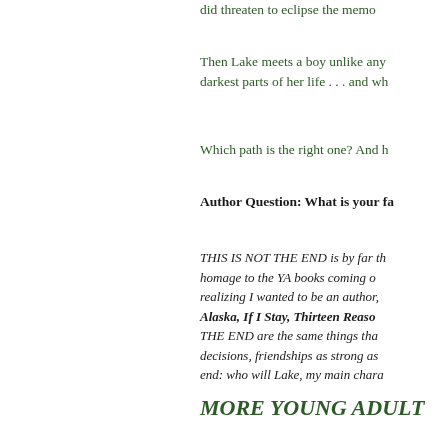did threaten to eclipse the memo
Then Lake meets a boy unlike any darkest parts of her life . . . and wh
Which path is the right one? And h
Author Question: What is your fa
THIS IS NOT THE END is by far th homage to the YA books coming o realizing I wanted to be an author, Alaska, If I Stay, Thirteen Reaso THE END are the same things tha decisions, friendships as strong as end: who will Lake, my main chara
Purchase This is Not the End at
Purchase This is Not the End at
View This is Not the End on Goo
MORE YOUNG ADULT